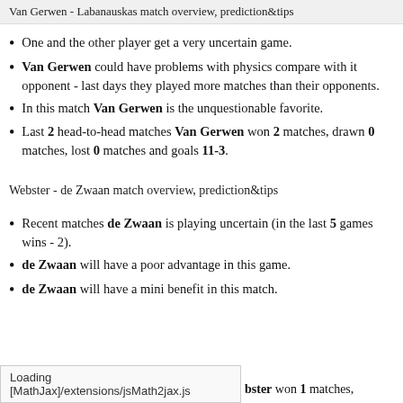Van Gerwen - Labanauskas match overview, prediction&tips
One and the other player get a very uncertain game.
Van Gerwen could have problems with physics compare with it opponent - last days they played more matches than their opponents.
In this match Van Gerwen is the unquestionable favorite.
Last 2 head-to-head matches Van Gerwen won 2 matches, drawn 0 matches, lost 0 matches and goals 11-3.
Webster - de Zwaan match overview, prediction&tips
Recent matches de Zwaan is playing uncertain (in the last 5 games wins - 2).
de Zwaan will have a poor advantage in this game.
de Zwaan will have a mini benefit in this match.
Loading [MathJax]/extensions/jsMath2jax.js    bster won 1 matches,